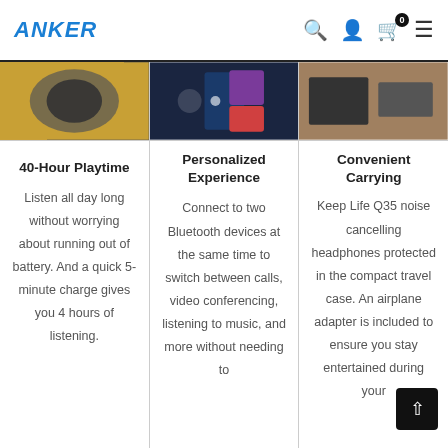ANKER
[Figure (photo): Three product images cropped: headphones on yellow background, tech device UI with colorful tiles, and Anker product with accessories on dark background]
40-Hour Playtime
Listen all day long without worrying about running out of battery. And a quick 5-minute charge gives you 4 hours of listening.
Personalized Experience
Connect to two Bluetooth devices at the same time to switch between calls, video conferencing, listening to music, and more without needing to
Convenient Carrying
Keep Life Q35 noise cancelling headphones protected in the compact travel case. An airplane adapter is included to ensure you stay entertained during your